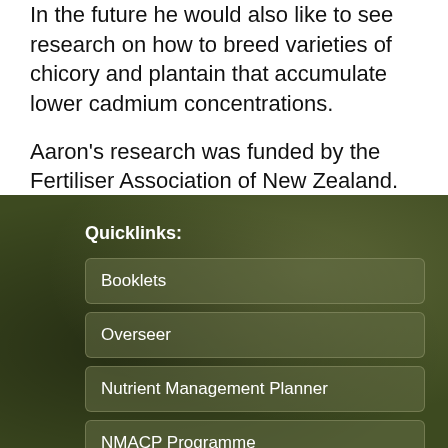In the future he would also like to see research on how to breed varieties of chicory and plantain that accumulate lower cadmium concentrations.
Aaron's research was funded by the Fertiliser Association of New Zealand. His supervisors were Professor Chris Anderson, Professor Mike Hedley and Dr Paramsothy Jeyakumar.
Quicklinks:
Booklets
Overseer
Nutrient Management Planner
NMACP Programme